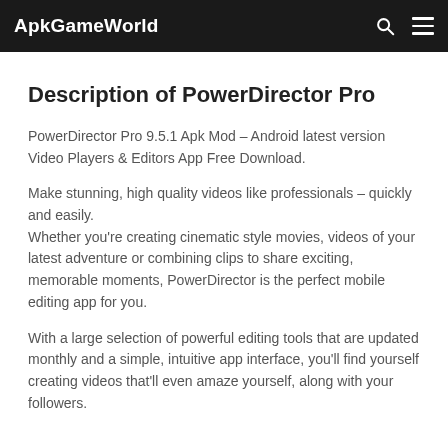ApkGameWorld
Description of PowerDirector Pro
PowerDirector Pro 9.5.1 Apk Mod – Android latest version Video Players & Editors App Free Download.
Make stunning, high quality videos like professionals – quickly and easily.
Whether you're creating cinematic style movies, videos of your latest adventure or combining clips to share exciting, memorable moments, PowerDirector is the perfect mobile editing app for you.
With a large selection of powerful editing tools that are updated monthly and a simple, intuitive app interface, you'll find yourself creating videos that'll even amaze yourself, along with your followers.